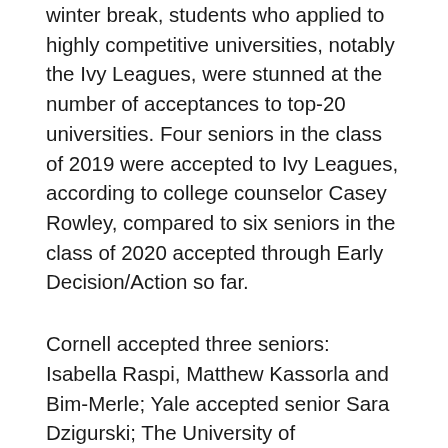winter break, students who applied to highly competitive universities, notably the Ivy Leagues, were stunned at the number of acceptances to top-20 universities. Four seniors in the class of 2019 were accepted to Ivy Leagues, according to college counselor Casey Rowley, compared to six seniors in the class of 2020 accepted through Early Decision/Action so far.
Cornell accepted three seniors: Isabella Raspi, Matthew Kassorla and Bim-Merle; Yale accepted senior Sara Dzigurski; The University of Pennsylvania accepted senior J.J. Gluckman; Harvard accepted Allana.
“This is a strong class and I do believe a lot of students put time and thought into where they applied and their essays,” Rowley said. “When you’re thoughtful about the right school fit and take time to develop your story you have a stronger application. Rather than throwing applications out I think a lot